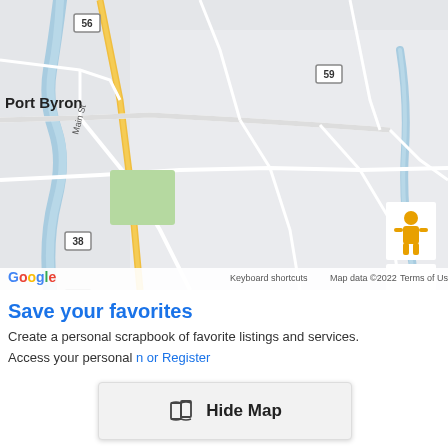[Figure (map): Google Maps view showing Port Byron area with routes 56, 59, and 38, a river on the left, green area, and standard Google Maps controls (street view person, zoom +/-). Map data ©2022. Shows roads, labels for Port Byron and Main St.]
Save your favorites
Create a personal scrapbook of favorite listings and services.
Access your personal … or Register
[Figure (screenshot): Hide Map button overlay with map icon and bold text 'Hide Map']